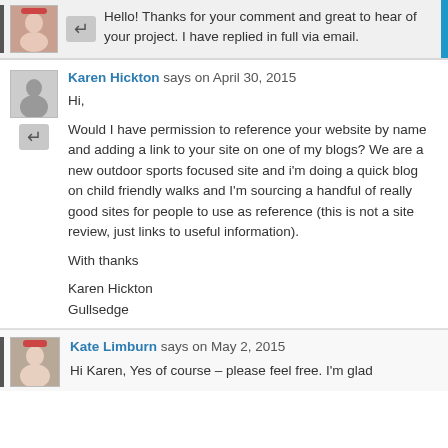Hello! Thanks for your comment and great to hear of your project. I have replied in full via email.
Karen Hickton says on April 30, 2015
Hi,

Would I have permission to reference your website by name and adding a link to your site on one of my blogs? We are a new outdoor sports focused site and i'm doing a quick blog on child friendly walks and I'm sourcing a handful of really good sites for people to use as reference (this is not a site review, just links to useful information).

With thanks

Karen Hickton
Gullsedge
Kate Limburn says on May 2, 2015
Hi Karen, Yes of course – please feel free. I'm glad